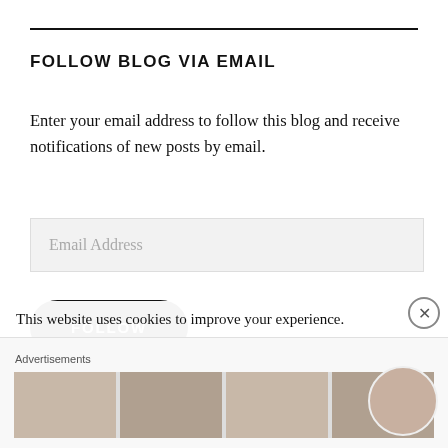FOLLOW BLOG VIA EMAIL
Enter your email address to follow this blog and receive notifications of new posts by email.
Email Address
FOLLOW
This website uses cookies to improve your experience.
Advertisements